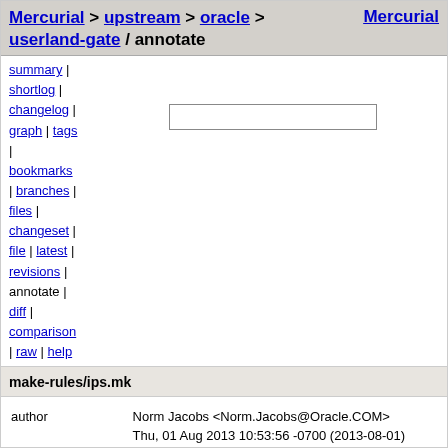Mercurial > upstream > oracle > userland-gate / annotate    Mercurial
summary |
shortlog |
changelog |
graph | tags
|
bookmarks
| branches |
files |
changeset |
file | latest |
revisions |
annotate |
diff |
comparison
| raw | help
make-rules/ips.mk
| field | value |
| --- | --- |
| author | Norm Jacobs <Norm.Jacobs@Oracle.COM> |
|  | Thu, 01 Aug 2013 10:53:56 -0700 (2013-08-01) |
| changeset 1416 | a87a9e85090e |
| parent 1238 | fb93a6ad84e5 |
| child 1428 | 94d2b78b3e05 |
| permissions | -rw-r--r-- |